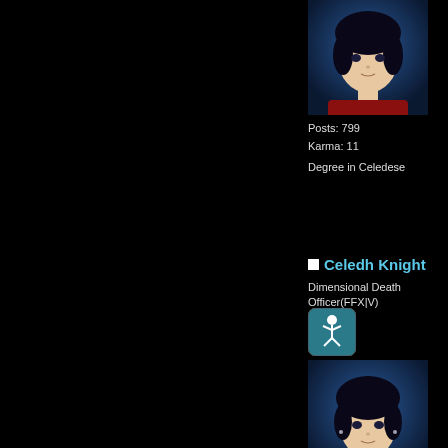[Figure (photo): Avatar portrait of a dark-haired anime-style female character with a blue background - top cropped avatar]
Posts: 799
Karma: 11

Degree in Celedese
Celedh Knight
Dimensional Death Officer(FFX|V)
[Figure (illustration): Small badge icon with a white acrobatic figure on teal background]
[Figure (photo): Avatar portrait of a dark-haired anime-style female character with a blue background]
Posts: 799
Karma: 11

Degree in Celedese
Flare
Dimensional Death Member
[Figure (illustration): Small badge icon with a white robot/astronaut figure on teal circular background]